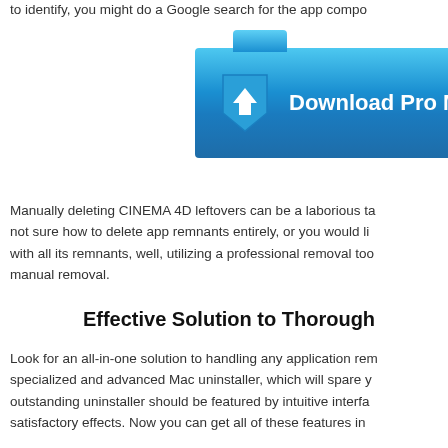to identify, you might do a Google search for the app compo
[Figure (other): Blue download button banner with download arrow icon and text 'Download Pro M']
Manually deleting CINEMA 4D leftovers can be a laborious ta not sure how to delete app remnants entirely, or you would li with all its remnants, well, utilizing a professional removal too manual removal.
Effective Solution to Thorough
Look for an all-in-one solution to handling any application rem specialized and advanced Mac uninstaller, which will spare y outstanding uninstaller should be featured by intuitive interfa satisfactory effects. Now you can get all of these features in